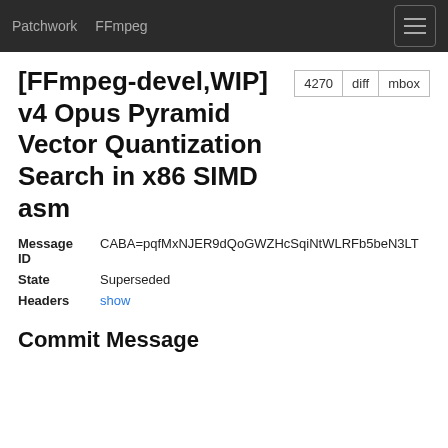Patchwork   FFmpeg
[FFmpeg-devel,WIP] v4 Opus Pyramid Vector Quantization Search in x86 SIMD asm
| Field | Value |
| --- | --- |
| Message ID | CABA=pqfMxNJER9dQoGWZHcSqiNtWLRFb5beN3LT |
| State | Superseded |
| Headers | show |
Commit Message